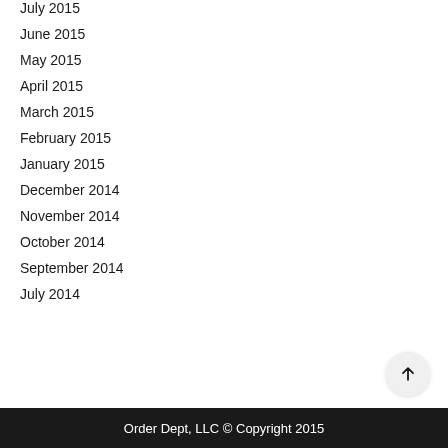July 2015
June 2015
May 2015
April 2015
March 2015
February 2015
January 2015
December 2014
November 2014
October 2014
September 2014
July 2014
Order Dept, LLC © Copyright 2015